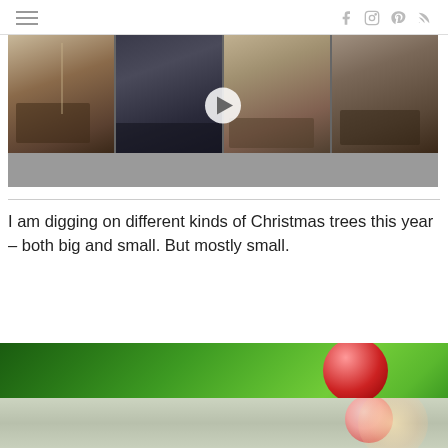Navigation and social icons bar
[Figure (screenshot): Video player showing kitchen interior scenes in a strip of 4 panels with a play button overlay and gray control bar at bottom]
I am digging on different kinds of Christmas trees this year – both big and small.  But mostly small.
[Figure (photo): Close-up photo of green Christmas tree branches with a large red ornament ball and blue background, partially cropped]